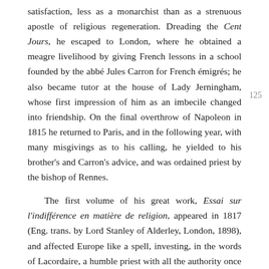satisfaction, less as a monarchist than as a strenuous apostle of religious regeneration. Dreading the Cent Jours, he escaped to London, where he obtained a meagre livelihood by giving French lessons in a school founded by the abbé Jules Carron for French émigrés; he also became tutor at the house of Lady Jerningham, whose first impression of him as an imbecile changed into friendship. On the final overthrow of Napoleon in 1815 he returned to Paris, and in the following year, with many misgivings as to his calling, he yielded to his brother's and Carron's advice, and was ordained priest by the bishop of Rennes.
The first volume of his great work, Essai sur l'indifférence en matière de religion, appeared in 1817 (Eng. trans. by Lord Stanley of Alderley, London, 1898), and affected Europe like a spell, investing, in the words of Lacordaire, a humble priest with all the authority once enjoyed by Bossuet. It was received as an electrifying and